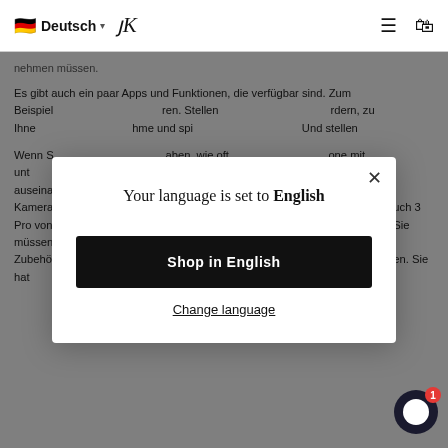🇩🇪 Deutsch ▾ K [hamburger] [cart]
nehmen müssen.
Es gibt auch ein paar Apps und Funktionen, die verfügbar sind. Zum Beispiel... Stellen... zu Ihne... und spi... Und stellen...
Wenn S... haben, wie oft... one mit unt... traut sind, m... und mit de... auseinandersetzen müssen... Sind Sie eingeschüchtert von komplexer Kameraausrüstung und ebenso komplizierten Einstellungen? Mit dem SeaTouch 3 Pro von Divevolk entfällt die Komplexität eines zeitaufwändigen Setups, und Sie müssen sich nicht mehr mit Stress und dem Ärger herumschlagen, wichtige Zubehörteile zu vorlegen, die mit einer großen Kameraausrüstung einhergehen. Sie hat
[Figure (screenshot): Language selector modal dialog with title 'Your language is set to English', a black 'Shop in English' button, and a 'Change language' underlined link. A close (×) button in top-right corner.]